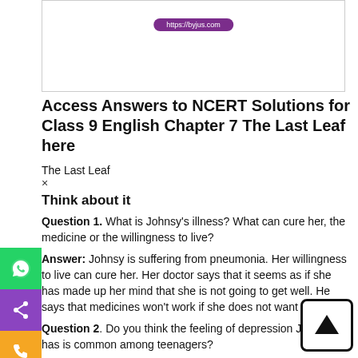[Figure (screenshot): Browser address bar showing https://byjus.com on a white background with a purple/violet URL pill]
Access Answers to NCERT Solutions for Class 9 English Chapter 7 The Last Leaf here
The Last Leaf
×
Think about it
Question 1. What is Johnsy's illness? What can cure her, the medicine or the willingness to live?
Answer: Johnsy is suffering from pneumonia. Her willingness to live can cure her. Her doctor says that it seems as if she has made up her mind that she is not going to get well. He says that medicines won't work if she does not want to live.
Question 2. Do you think the feeling of depression Johnsy has is common among teenagers?